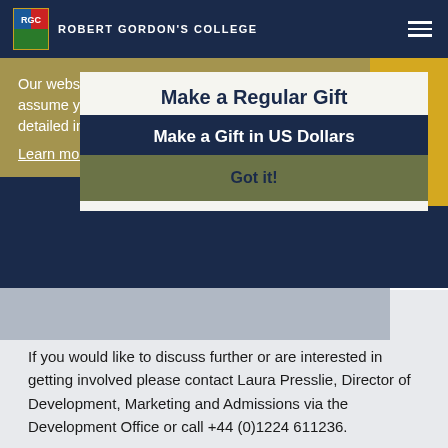ROBERT GORDON'S COLLEGE
Our website uses cookies. By continuing we assume your permission to deploy cookies, as detailed in our privacy and cookies policy
Learn more
Make a Regular Gift
Make a Gift in US Dollars
Got it!
Get in Touch
If you would like to discuss further or are interested in getting involved please contact Laura Presslie, Director of Development, Marketing and Admissions via the Development Office or call +44 (0)1224 611236.